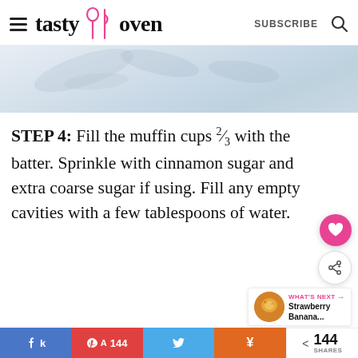tasty oven | SUBSCRIBE
[Figure (photo): Light blue-white marble texture background, cropped hero image]
STEP 4: Fill the muffin cups ⅔ with the batter. Sprinkle with cinnamon sugar and extra coarse sugar if using. Fill any empty cavities with a few tablespoons of water.
WHAT'S NEXT → Strawberry Banana...
k   A  144   Twitter   ¥   < 144 SHARES